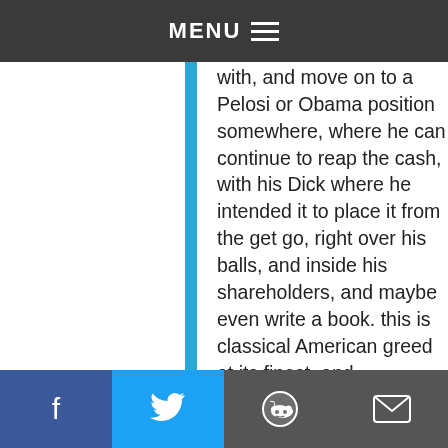MENU
of millions that don't belong to him to begin with, and move on to a Pelosi or Obama position somewhere, where he can continue to reap the cash, with his Dick where he intended it to place it from the get go, right over his balls, and inside his shareholders, and maybe even write a book. this is classical American greed at its finest. and furthermore, what makes this country so great, do I dislike this guy? Not sure, I don't know him personally, Do I hate him? Not really, I don't own stock in the company and never did like it, or shop there, do I admire him? HELL YEAH! This B that is milking an ind sighting this country
f  [twitter]  [reddit]  [email]